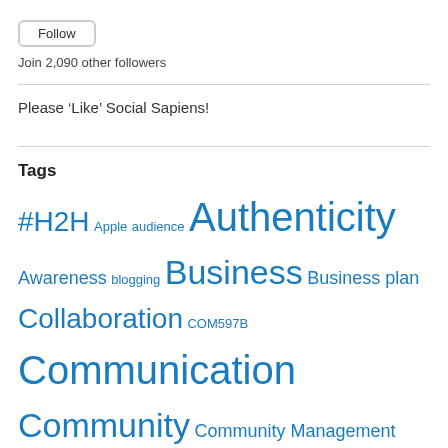[Figure (other): Follow button with rounded rectangle border]
Join 2,090 other followers
Please ‘Like’ Social Sapiens!
Tags
#H2H Apple audience Authenticity Awareness blogging Business Business plan Collaboration COM597B Communication Community Community Management Content